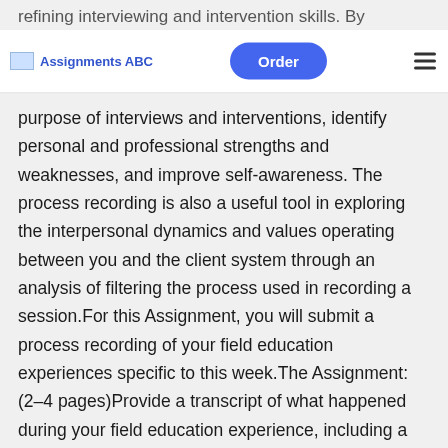Assignments ABC | Order
refining interviewing and intervention skills. By conceptualizing and organizing ties with social work clients, you are able to clarify the purpose of interviews and interventions, identify personal and professional strengths and weaknesses, and improve self-awareness. The process recording is also a useful tool in exploring the interpersonal dynamics and values operating between you and the client system through an analysis of filtering the process used in recording a session.For this Assignment, you will submit a process recording of your field education experiences specific to this week.The Assignment: (2–4 pages)Provide a transcript of what happened during your field education experience, including a dialogue of interaction with a client.Explain your interpretation of what occurred in the dialogue